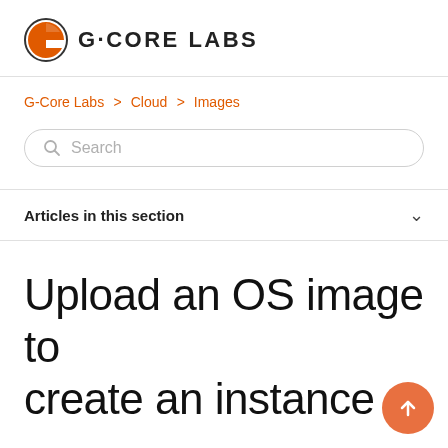G-CORE LABS
G-Core Labs > Cloud > Images
Search
Articles in this section
Upload an OS image to create an instance